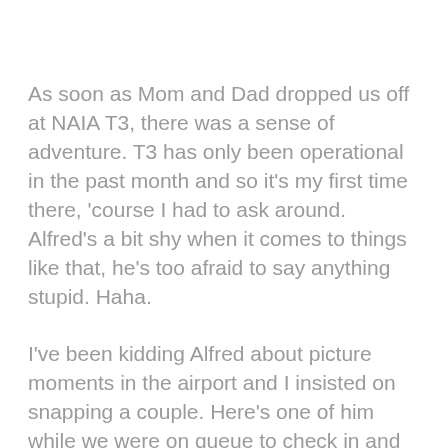As soon as Mom and Dad dropped us off at NAIA T3, there was a sense of adventure. T3 has only been operational in the past month and so it's my first time there, 'course I had to ask around. Alfred's a bit shy when it comes to things like that, he's too afraid to say anything stupid. Haha.
I've been kidding Alfred about picture moments in the airport and I insisted on snapping a couple. Here's one of him while we were on queue to check in and one of me, er my Envirosax, which we had decided just then to use for the laptop. We initially planned for me to just lug the laptop around snug in it's sleeve but it was a bit